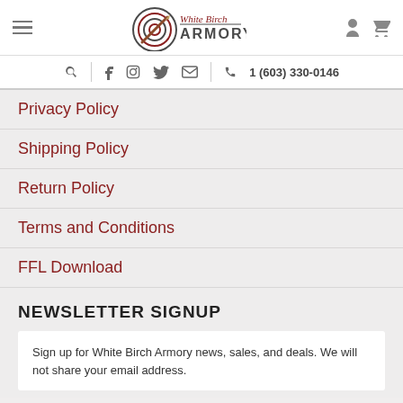[Figure (logo): White Birch Armory logo with target and bayonet graphic]
Search | Facebook | Instagram | Twitter | Email | 1 (603) 330-0146
Privacy Policy
Shipping Policy
Return Policy
Terms and Conditions
FFL Download
NEWSLETTER SIGNUP
Sign up for White Birch Armory news, sales, and deals. We will not share your email address.